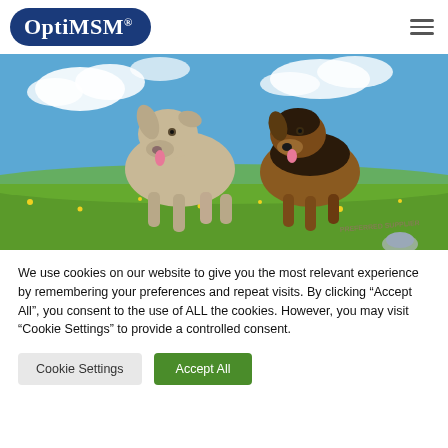[Figure (logo): OptiMSM logo — white text on dark blue rounded rectangle background]
[Figure (photo): Two happy dogs running on a green grassy field under a blue sky with white clouds. A light tan Weimaraner-type dog in the foreground with tongue out, and a brown/black dog behind. Text watermark reads 'PREFERRED SUPPLIER' in bottom right corner.]
We use cookies on our website to give you the most relevant experience by remembering your preferences and repeat visits. By clicking “Accept All”, you consent to the use of ALL the cookies. However, you may visit “Cookie Settings” to provide a controlled consent.
Cookie Settings
Accept All